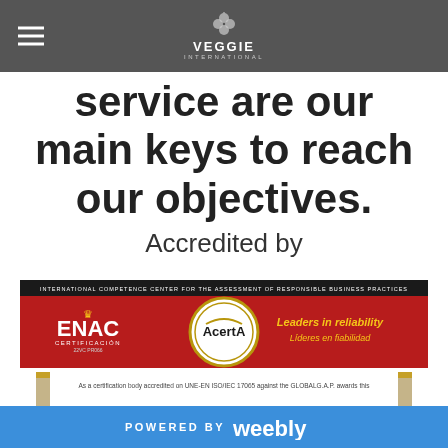Veggie International
service are our main keys to reach our objectives.
Accredited by
[Figure (other): ENAC / AcertA certification banner showing 'INTERNATIONAL COMPETENCE CENTER FOR THE ASSESSMENT OF RESPONSIBLE BUSINESS PRACTICES', ENAC logo (red background), AcertA circular logo, 'Leaders in reliability / Líderes en fiabilidad' in gold text, and a CERTIFICATE heading below on white background with text 'As a certification body accredited on UNE-EN ISO/IEC 17065 against the GLOBALG.A.P. awards this']
POWERED BY weebly